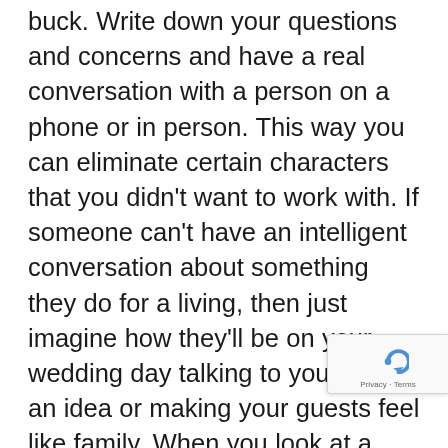buck. Write down your questions and concerns and have a real conversation with a person on a phone or in person. This way you can eliminate certain characters that you didn't want to work with. If someone can't have an intelligent conversation about something they do for a living, then just imagine how they'll be on your wedding day talking to you about an idea or making your guests feel like family. When you look at a portfolio pretty carefully and not just flying through the pics, you can almost always tell how good the photographer is or if they just get lucky. If they get past this stage and you love their ideas and portfolio, meeting in person to see prints and possibly a full wedding day is usually a must. An important thing to know is what type of a photographer are you getting and if it matches what you're looking for in your wedding photos. When you figure that out, you sh... now know that not every photo journalist or portra... photographer do the same thing. Let me help with a...
[Figure (other): reCAPTCHA badge overlay in bottom-right corner with spinning arrow logo and Privacy · Terms text]